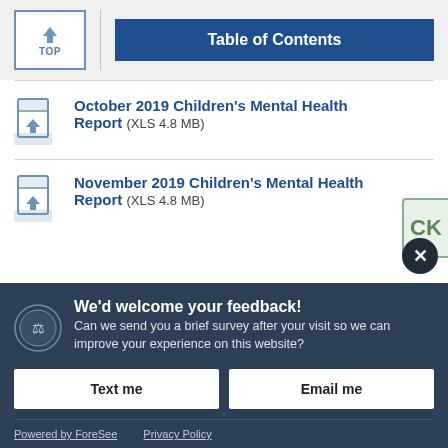[Figure (screenshot): TOP navigation button with up arrow and Table of Contents blue button]
October 2019 Children's Mental Health Report (XLS 4.8 MB)
November 2019 Children's Mental Health Report (XLS 4.8 MB)
We'd welcome your feedback! Can we send you a brief survey after your visit so we can improve your experience on this website?
Text me
Email me
Powered by ForeSee    Privacy Policy